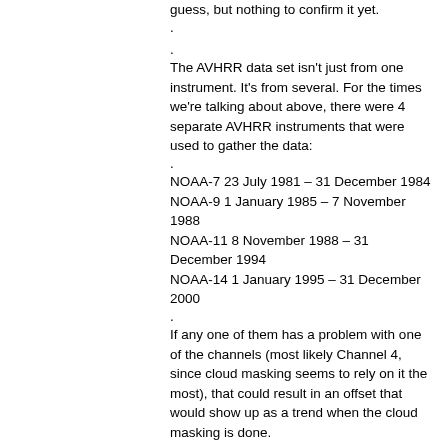guess, but nothing to confirm it yet.
The AVHRR data set isn't just from one instrument. It's from several. For the times we're talking about above, there were 4 separate AVHRR instruments that were used to gather the data:
NOAA-7 23 July 1981 – 31 December 1984
NOAA-9 1 January 1985 – 7 November 1988
NOAA-11 8 November 1988 – 31 December 1994
NOAA-14 1 January 1995 – 31 December 2000
If any one of them has a problem with one of the channels (most likely Channel 4, since cloud masking seems to rely on it the most), that could result in an offset that would show up as a trend when the cloud masking is done.
Current theory. Don't know if there's any validity to it (I never did download the